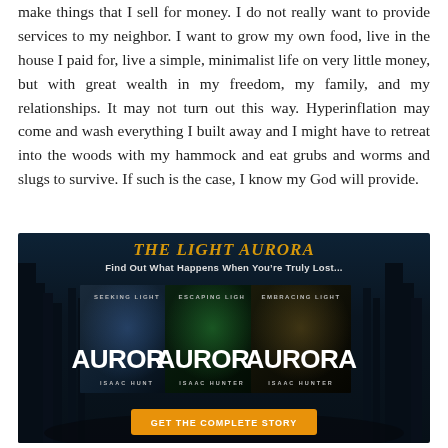make things that I sell for money. I do not really want to provide services to my neighbor. I want to grow my own food, live in the house I paid for, live a simple, minimalist life on very little money, but with great wealth in my freedom, my family, and my relationships. It may not turn out this way. Hyperinflation may come and wash everything I built away and I might have to retreat into the woods with my hammock and eat grubs and worms and slugs to survive. If such is the case, I know my God will provide.
[Figure (illustration): Advertisement for 'The Light Aurora' book series by Isaac Hunt. Dark forest background with three book covers: 'Seeking Light Aurora', 'Escaping Light Aurora', and 'Embracing Light Aurora', all authored by Isaac Hunter. Tagline: 'Find Out What Happens When You're Truly Lost...' with an orange 'GET THE COMPLETE STORY' button at the bottom.]